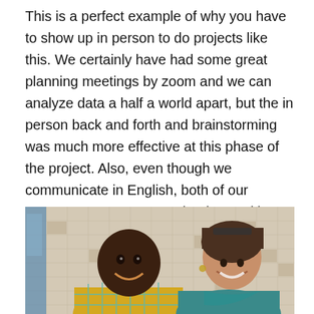This is a perfect example of why you have to show up in person to do projects like this. We certainly have had some great planning meetings by zoom and we can analyze data a half a world apart, but the in person back and forth and brainstorming was much more effective at this phase of the project. Also, even though we communicate in English, both of our accents are strong to each other and in person, it is always easier to understand and be understood.
[Figure (photo): Two people smiling together in front of a tiled wall. On the left is a man wearing a bright yellow and teal plaid shirt. On the right is a woman with sunglasses on her head, wearing a teal top.]